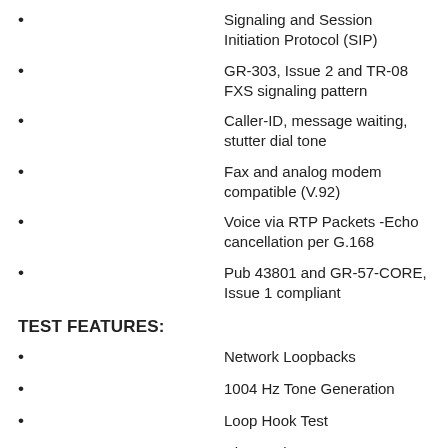Signaling and Session Initiation Protocol (SIP)
GR-303, Issue 2 and TR-08 FXS signaling pattern
Caller-ID, message waiting, stutter dial tone
Fax and analog modem compatible (V.92)
Voice via RTP Packets -Echo cancellation per G.168
Pub 43801 and GR-57-CORE, Issue 1 compliant
TEST FEATURES:
Network Loopbacks
1004 Hz Tone Generation
Loop Hook Test
Ring Cadence Test
Integrated Loop Testing
QUESTIONS & ANSWERS